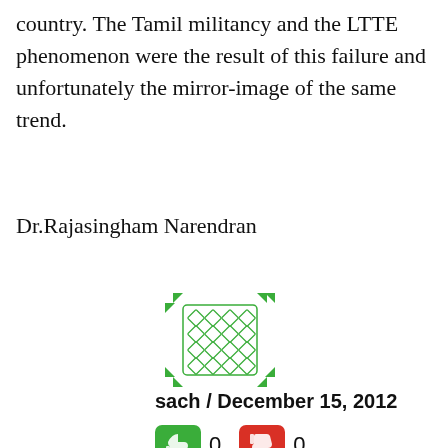country. The Tamil militancy and the LTTE phenomenon were the result of this failure and unfortunately the mirror-image of the same trend.
Dr.Rajasingham Narendran
[Figure (illustration): Green decorative avatar/icon with diamond grid pattern and corner arrows]
sach / December 15, 2012
[Figure (infographic): Thumbs up (green) with count 0, thumbs down (red) with count 0]
“The Tamils were the most affected by the
[Figure (infographic): Close/dismiss X button overlay]
[Figure (infographic): Advertisement banner: Tiro Auto logo, text 'Get Up To $110 Off a Set of 4 Select Firestone Tires', navigation diamond icon, scroll-up button]